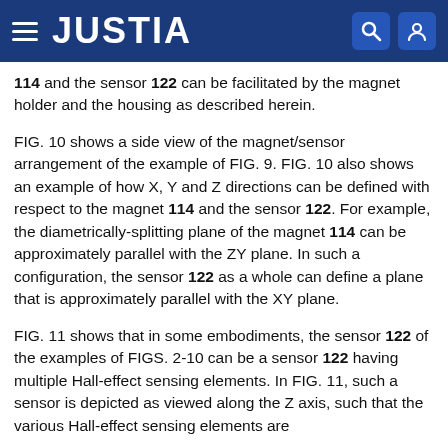JUSTIA
114 and the sensor 122 can be facilitated by the magnet holder and the housing as described herein.
FIG. 10 shows a side view of the magnet/sensor arrangement of the example of FIG. 9. FIG. 10 also shows an example of how X, Y and Z directions can be defined with respect to the magnet 114 and the sensor 122. For example, the diametrically-splitting plane of the magnet 114 can be approximately parallel with the ZY plane. In such a configuration, the sensor 122 as a whole can define a plane that is approximately parallel with the XY plane.
FIG. 11 shows that in some embodiments, the sensor 122 of the examples of FIGS. 2-10 can be a sensor 122 having multiple Hall-effect sensing elements. In FIG. 11, such a sensor is depicted as viewed along the Z axis, such that the various Hall-effect sensing elements are